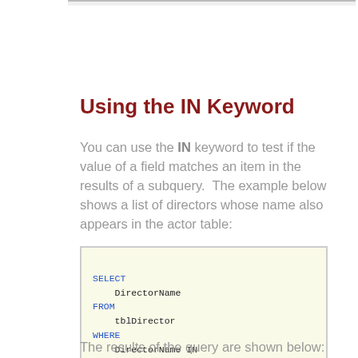Using the IN Keyword
You can use the IN keyword to test if the value of a field matches an item in the results of a subquery.  The example below shows a list of directors whose name also appears in the actor table:
[Figure (screenshot): SQL code block showing SELECT DirectorName FROM tblDirector WHERE DirectorName IN (SELECT ActorName FROM tblActor)]
The results of the query are shown below: